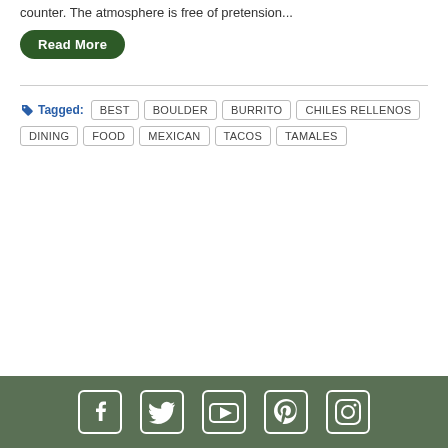counter. The atmosphere is free of pretension...
Read More
Tagged: BEST BOULDER BURRITO CHILES RELLENOS DINING FOOD MEXICAN TACOS TAMALES
Social icons: Facebook, Twitter, YouTube, Pinterest, Instagram